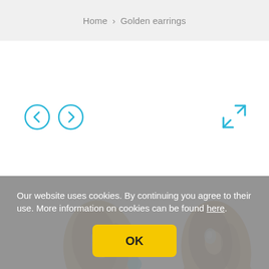Home › Golden earrings
[Figure (screenshot): Navigation arrows (prev/next) and expand/fullscreen icon on a product image viewer showing golden earrings at the bottom]
Our website uses cookies. By continuing you agree to their use. More information on cookies can be found here.
OK